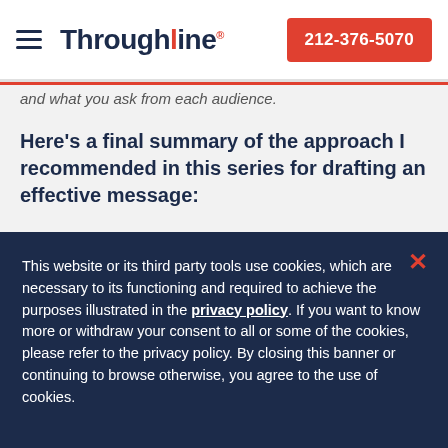Throughline | 212-376-5070
and what you ask from each audience.
Here's a final summary of the approach I recommended in this series for drafting an effective message:
This website or its third party tools use cookies, which are necessary to its functioning and required to achieve the purposes illustrated in the privacy policy. If you want to know more or withdraw your consent to all or some of the cookies, please refer to the privacy policy. By closing this banner or continuing to browse otherwise, you agree to the use of cookies.